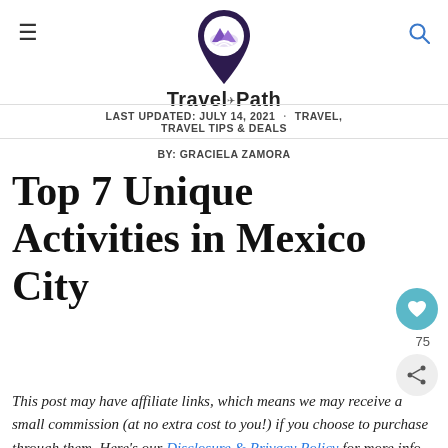[Figure (logo): TravelOffPath logo: a map pin with purple mountain/road illustration and the text 'Travel Off Path' below it]
LAST UPDATED: JULY 14, 2021  ·  TRAVEL, TRAVEL TIPS & DEALS
BY: GRACIELA ZAMORA
Top 7 Unique Activities in Mexico City
This post may have affiliate links, which means we may receive a small commission (at no extra cost to you!) if you choose to purchase through them. Here's our Disclosure & Privacy Policy for more info.